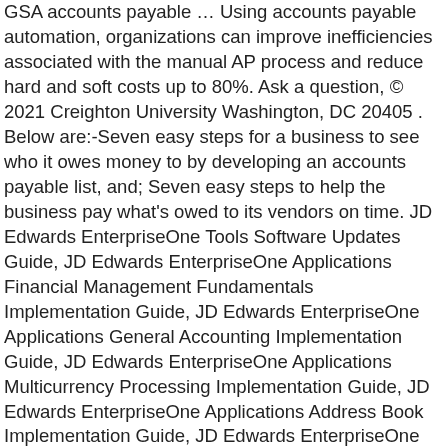GSA accounts payable … Using accounts payable automation, organizations can improve inefficiencies associated with the manual AP process and reduce hard and soft costs up to 80%. Ask a question, © 2021 Creighton University Washington, DC 20405 . Below are:-Seven easy steps for a business to see who it owes money to by developing an accounts payable list, and; Seven easy steps to help the business pay what's owed to its vendors on time. JD Edwards EnterpriseOne Tools Software Updates Guide, JD Edwards EnterpriseOne Applications Financial Management Fundamentals Implementation Guide, JD Edwards EnterpriseOne Applications General Accounting Implementation Guide, JD Edwards EnterpriseOne Applications Multicurrency Processing Implementation Guide, JD Edwards EnterpriseOne Applications Address Book Implementation Guide, JD Edwards EnterpriseOne Applications Localizations for Argentina Implementation Guide, JD Edwards EnterpriseOne